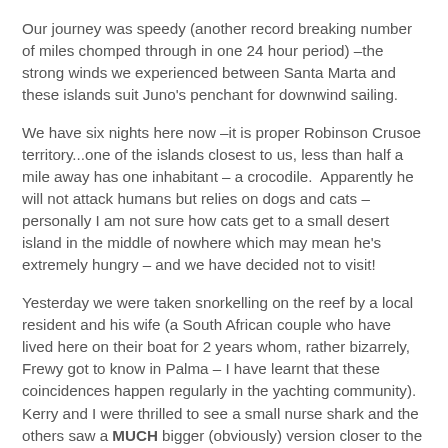Our journey was speedy (another record breaking number of miles chomped through in one 24 hour period) –the strong winds we experienced between Santa Marta and these islands suit Juno's penchant for downwind sailing.
We have six nights here now –it is proper Robinson Crusoe territory...one of the islands closest to us, less than half a mile away has one inhabitant – a crocodile.  Apparently he will not attack humans but relies on dogs and cats – personally I am not sure how cats get to a small desert island in the middle of nowhere which may mean he's extremely hungry – and we have decided not to visit!
Yesterday we were taken snorkelling on the reef by a local resident and his wife (a South African couple who have lived here on their boat for 2 years whom, rather bizarrely, Frewy got to know in Palma – I have learnt that these coincidences happen regularly in the yachting community). Kerry and I were thrilled to see a small nurse shark and the others saw a MUCH bigger (obviously) version closer to the reef.  We were surprised by the lack of colour in the corals but the water is beautifully clear and there was plenty of life – my